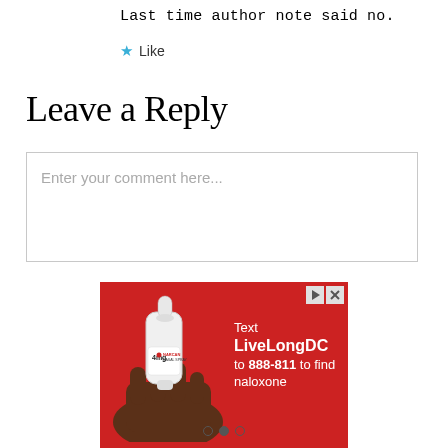Last time author note said no.
★ Like
Leave a Reply
Enter your comment here...
[Figure (photo): Advertisement with red background showing a hand holding a 4mg NARCAN Nasal Spray device. Text reads: Text LiveLongDC to 888-811 to find naloxone. Navigation icons (play and close) in top right corner.]